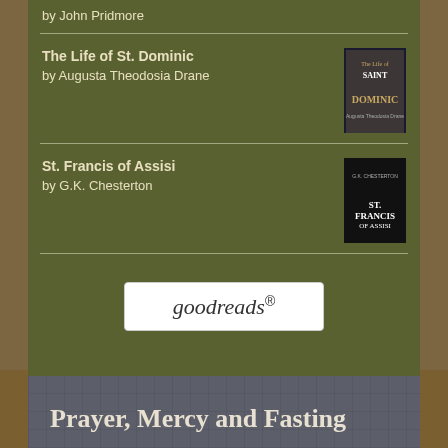by John Pridmore
The Life of St. Dominic
by Augusta Theodosia Drane
[Figure (illustration): Book cover for The Life of St. Dominic (Saint Dominic)]
St. Francis of Assisi
by G.K. Chesterton
[Figure (illustration): Book cover for St. Francis of Assisi by G.K. Chesterton]
[Figure (logo): goodreads logo button]
Prayer, Mercy and Fasting
[Figure (illustration): Three small book/image thumbnails at bottom]